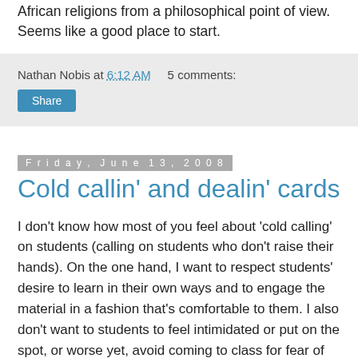African religions from a philosophical point of view. Seems like a good place to start.
Nathan Nobis at 6:12 AM   5 comments:
Share
Friday, June 13, 2008
Cold callin' and dealin' cards
I don't know how most of you feel about 'cold calling' on students (calling on students who don't raise their hands). On the one hand, I want to respect students' desire to learn in their own ways and to engage the material in a fashion that's comfortable to them. I also don't want to students to feel intimidated or put on the spot, or worse yet, avoid coming to class for fear of having to speak. But on the other hand, cold calling creates the expectation that students need to be prepared for class, and in my experience, many